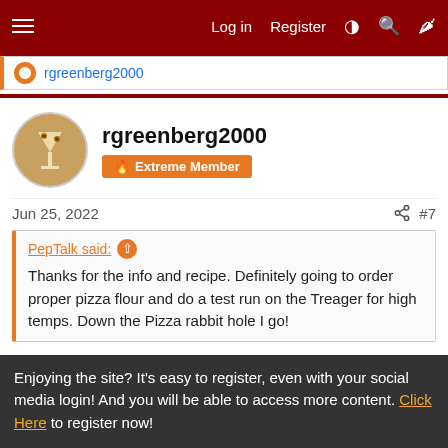Log in  Register
rgreenberg2000
rgreenberg2000  Extreme Member
Jun 25, 2022  #7
PepTalk said:  Thanks for the info and recipe. Definitely going to order proper pizza flour and do a test run on the Treager for high temps. Down the Pizza rabbit hole I go!
The only way I'm able to get the 750°+ temps I like in the RecTeq is to use the GMG Pizza Oven as it funnels all the heat from the fire pot into the oven. This means the grill temp probe
Enjoying the site? It's easy to register, even with your social media login! And you will be able to access more content. Click Here to register now!